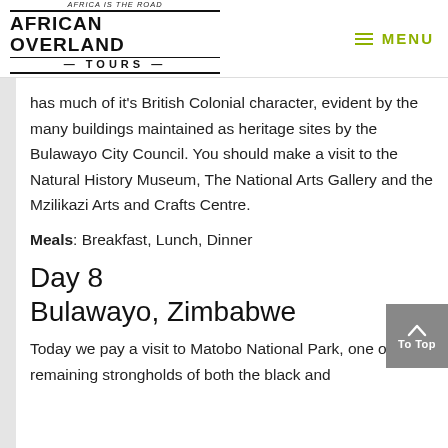AFRICA is the ROAD | AFRICAN OVERLAND TOURS | MENU
has much of it's British Colonial character, evident by the many buildings maintained as heritage sites by the Bulawayo City Council. You should make a visit to the Natural History Museum, The National Arts Gallery and the Mzilikazi Arts and Crafts Centre.
Meals: Breakfast, Lunch, Dinner
Day 8
Bulawayo, Zimbabwe
Today we pay a visit to Matobo National Park, one of the remaining strongholds of both the black and